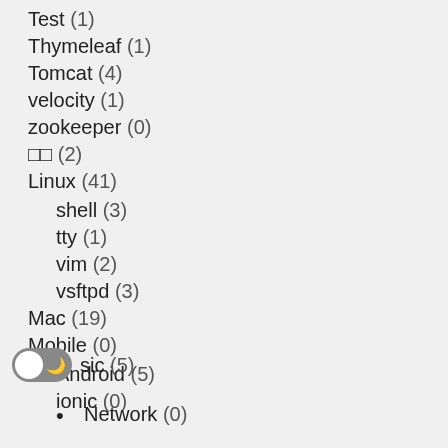Test (1)
Thymeleaf (1)
Tomcat (4)
velocity (1)
zookeeper (0)
□□ (2)
Linux (41)
shell (3)
tty (1)
vim (2)
vsftpd (3)
Mac (19)
Mobile (0)
Android (5)
ionic (0)
sic (5)
Network (0)